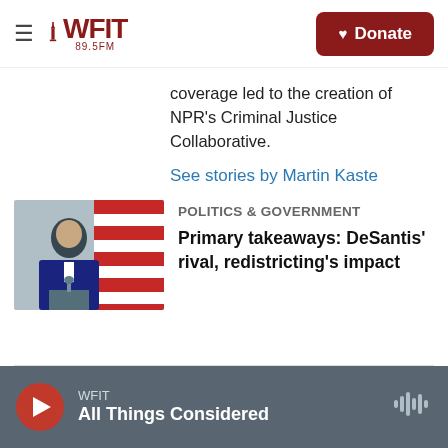WFIT 89.5FM — Donate
coverage led to the creation of NPR's Criminal Justice Collaborative.
See stories by Martin Kaste
[Figure (photo): Photo of a man in a suit speaking at a podium with American flags and Florida state flag in background, presumably Governor DeSantis]
Politics & Government
Primary takeaways: DeSantis' rival, redistricting's impact
WFIT — All Things Considered